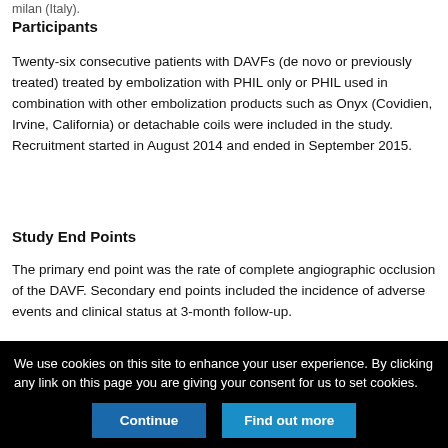milan (Italy).
Participants
Twenty-six consecutive patients with DAVFs (de novo or previously treated) treated by embolization with PHIL only or PHIL used in combination with other embolization products such as Onyx (Covidien, Irvine, California) or detachable coils were included in the study. Recruitment started in August 2014 and ended in September 2015.
Study End Points
The primary end point was the rate of complete angiographic occlusion of the DAVF. Secondary end points included the incidence of adverse events and clinical status at 3-month follow-up.
We use cookies on this site to enhance your user experience. By clicking any link on this page you are giving your consent for us to set cookies.